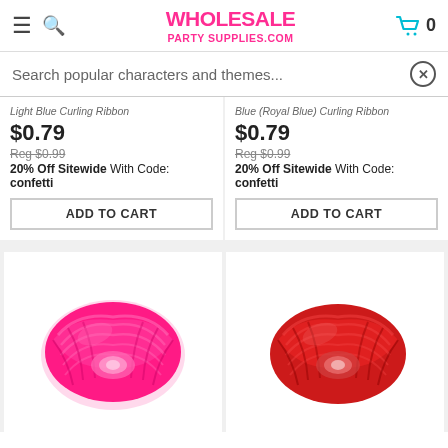WHOLESALE PARTY SUPPLIES.COM
Search popular characters and themes...
Light Blue Curling Ribbon
$0.79
Reg $0.99
20% Off Sitewide With Code: confetti
ADD TO CART
Blue (Royal Blue) Curling Ribbon
$0.79
Reg $0.99
20% Off Sitewide With Code: confetti
ADD TO CART
[Figure (photo): Hot pink curling ribbon spool]
[Figure (photo): Red curling ribbon spool]